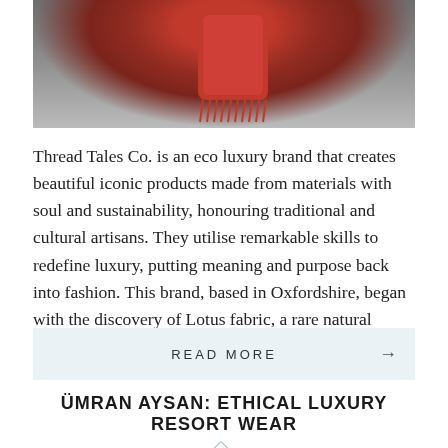[Figure (photo): Photo of a person wearing a red knit scarf/shawl with fringe, dark clothing, shown from shoulders down, interior background]
Thread Tales Co. is an eco luxury brand that creates beautiful iconic products made from materials with soul and sustainability, honouring traditional and cultural artisans. They utilise remarkable skills to redefine luxury, putting meaning and purpose back into fashion. This brand, based in Oxfordshire, began with the discovery of Lotus fabric, a rare natural material [...]
READ MORE →
ÜMRAN AYSAN: ETHICAL LUXURY RESORT WEAR
July 11, 2017